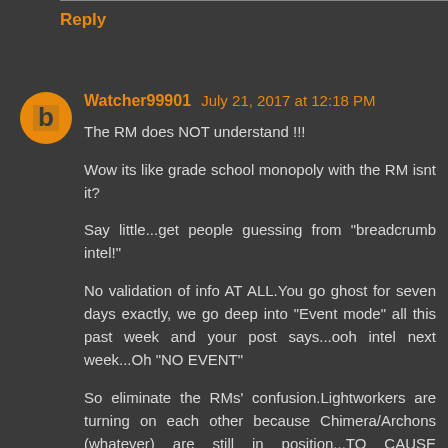Reply
Watcher99901  July 21, 2017 at 12:18 PM
The RM does NOT understand !!!

Wow its like grade school monopoly with the RM isnt it?

Say little...get people guessing from "breadcrumb intel!"

No validation of info AT ALL.You go ghost for seven days exactly, we go deep into "Event mode" all this past week and your post says...ooh intel next week...Oh "NO EVENT"

So eliminate the RMs' confusion.Lightworkers are turning on each other because Chimera/Archons (whatever) are still in position...TO CAUSE HARM.DUH.

Take them out for good, for ever then see what happens, how come the "Abundance" notes regarding the one global affliction to every "light soul" on this planet is financial, and